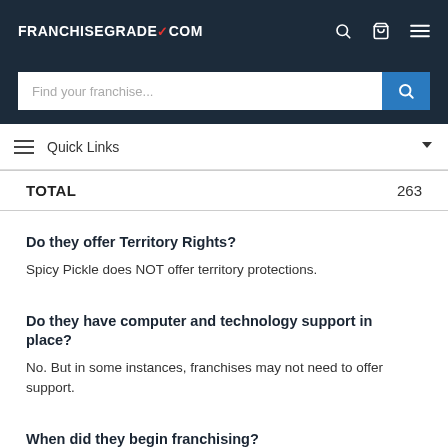FRANCHISEGRADE✓COM
Find your franchise...
Quick Links
| TOTAL | 263 |
| --- | --- |
Do they offer Territory Rights?
Spicy Pickle does NOT offer territory protections.
Do they have computer and technology support in place?
No. But in some instances, franchises may not need to offer support.
When did they begin franchising?
They began franchising in 2003. The average Subs,